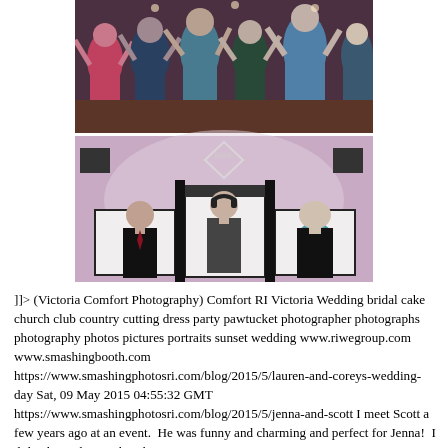[Figure (photo): Two stacked wedding reception photos. Top photo: crowded dance floor with guests dancing and raising their hands. Bottom photo: Three men (DJs) behind a white DJ booth with 'RIWE' logo, purple ambient lighting in background.]
]]> (Victoria Comfort Photography) Comfort RI Victoria Wedding bridal cake church club country cutting dress party pawtucket photographer photographs photography photos pictures portraits sunset wedding www.riwegroup.com www.smashingbooth.com https://www.smashingphotosri.com/blog/2015/5/lauren-and-coreys-wedding-day Sat, 09 May 2015 04:55:32 GMT https://www.smashingphotosri.com/blog/2015/5/jenna-and-scott I meet Scott a few years ago at an event.  He was funny and charming and perfect for Jenna!  I didn't know her yet but the